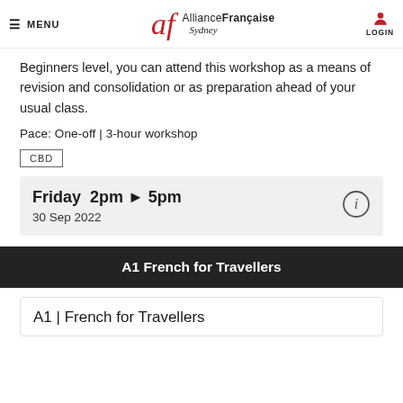MENU | Alliance Française Sydney | LOGIN
Beginners level, you can attend this workshop as a means of revision and consolidation or as preparation ahead of your usual class.
Pace: One-off | 3-hour workshop
CBD
Friday  2pm ▶ 5pm
30 Sep 2022
A1 French for Travellers
A1 | French for Travellers